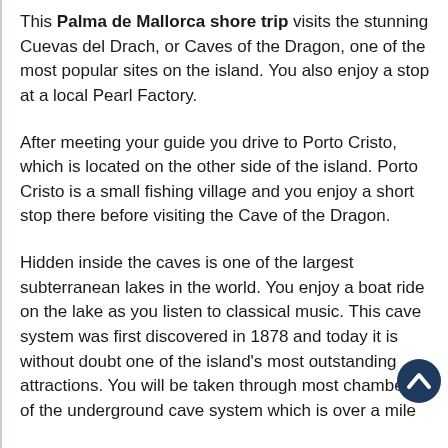This Palma de Mallorca shore trip visits the stunning Cuevas del Drach, or Caves of the Dragon, one of the most popular sites on the island. You also enjoy a stop at a local Pearl Factory.
After meeting your guide you drive to Porto Cristo, which is located on the other side of the island. Porto Cristo is a small fishing village and you enjoy a short stop there before visiting the Cave of the Dragon.
Hidden inside the caves is one of the largest subterranean lakes in the world. You enjoy a boat ride on the lake as you listen to classical music. This cave system was first discovered in 1878 and today it is without doubt one of the island's most outstanding attractions. You will be taken through most chambers of the underground cave system which is over a mile